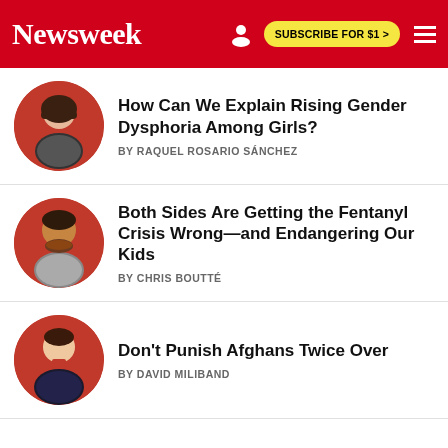Newsweek | SUBSCRIBE FOR $1 >
How Can We Explain Rising Gender Dysphoria Among Girls?
BY RAQUEL ROSARIO SÁNCHEZ
Both Sides Are Getting the Fentanyl Crisis Wrong—and Endangering Our Kids
BY CHRIS BOUTTÉ
Don't Punish Afghans Twice Over
BY DAVID MILIBAND